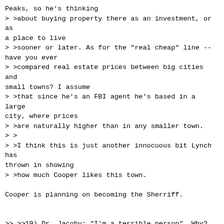Peaks, so he's thinking
> >about buying property there as an investment, or as a place to live
> >sooner or later. As for the "real cheap" line -- have you ever
> >compared real estate prices between big cities and small towns? I assume
> >that since he's an FBI agent he's based in a large city, where prices
> >are naturally higher than in any smaller town.
> >
> >I think this is just another innocuous bit Lynch has thrown in showing
> >how much Cooper likes this town.

Cooper is planning on becoming the Sherriff.


>> >>19) Dr. Jacoby: "I'm a terrible person"  Why? Did he kill Laura?  Did
>> >>    he allow the murder?  Did he allow Laura to get into drug dealing?